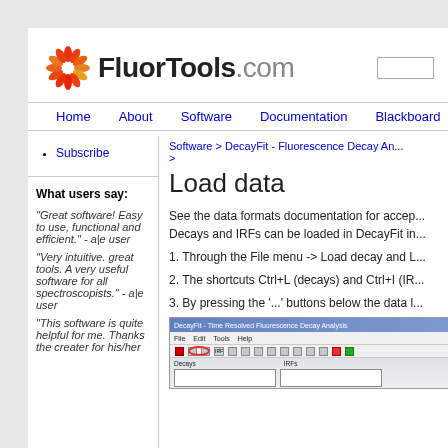FluorTools.com
Home   About   Software   Documentation   Blackboard
Software > DecayFit - Fluorescence Decay An... >
Load data
See the data formats documentation for accep... Decays and IRFs can be loaded in DecayFit in...
1. Through the File menu -> Load decay and L...
2. The shortcuts Ctrl+L (decays) and Ctrl+I (IR...
3. By pressing the '...' buttons below the data l...
[Figure (screenshot): DecayFit - Time Resolved Fluorescence Decay Analysis software screenshot showing toolbar with file menu and navigation buttons, with a red circle highlighting a toolbar button]
Subscribe
What users say:
"Great software! Easy to use, functional and efficient." - a|e user
"Very intuitive. great tools. A very useful software for all spectroscopists." - a|e user
"This software is quite helpful for me. Thanks the creater for his/her...